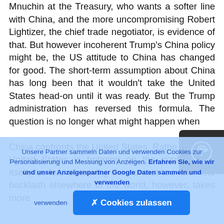Mnuchin at the Treasury, who wants a softer line with China, and the more uncompromising Robert Lightizer, the chief trade negotiator, is evidence of that. But however incoherent Trump's China policy might be, the US attitude to China has changed for good. The short-term assumption about China has long been that it wouldn't take the United States head-on until it was ready. But the Trump administration has reversed this formula. The question is no longer what might happen when China confronts the United States. Rather, the United States is bringing on the confrontation itself, for fear of leaving the contest too late. The backlash elsewhere in the world, however, takes more
[Figure (other): A circular arrow icon button on dark background (navigation/share button)]
Unsere Partner sammeln Daten und verwenden Cookies zur Personalisierung und Messung von Anzeigen. Erfahren Sie, wie wir und unser Anzeigenpartner Google Daten sammeln und verwenden